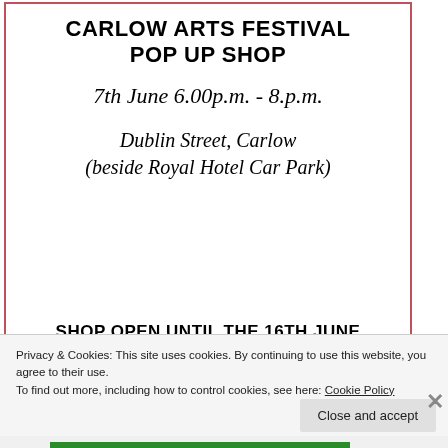CARLOW ARTS FESTIVAL POP UP SHOP
7th June 6.00p.m. - 8.p.m.
Dublin Street, Carlow
(beside Royal Hotel Car Park)
SHOP OPEN UNTIL THE 16TH JUNE
[Figure (other): Banner with gradient background (orange to pink) containing italic text 'in the back.']
Privacy & Cookies: This site uses cookies. By continuing to use this website, you agree to their use.
To find out more, including how to control cookies, see here: Cookie Policy